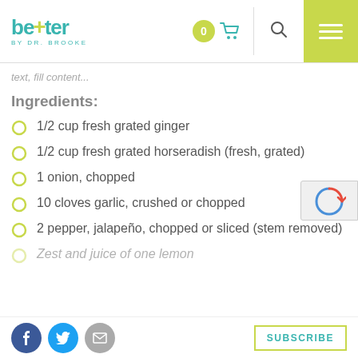better BY DR. BROOKE — navigation header
...text content...
Ingredients:
1/2 cup fresh grated ginger
1/2 cup fresh grated horseradish (fresh, grated)
1 onion, chopped
10 cloves garlic, crushed or chopped
2 pepper, jalapeño, chopped or sliced (stem removed)
Zest and juice of one lemon
Social share buttons and SUBSCRIBE button